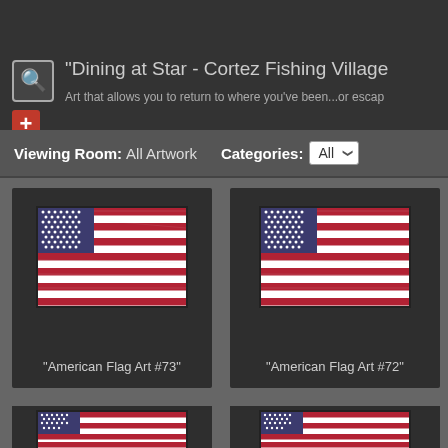"Dining at Star - Cortez Fishing Village
Art that allows you to return to where you've been...or escap
Viewing Room: All Artwork   Categories: All
[Figure (illustration): American Flag Art #73 - stylized American flag artwork on white background with dark border]
"American Flag Art #73"
[Figure (illustration): American Flag Art #72 - stylized American flag artwork on white background with dark border]
"American Flag Art #72"
[Figure (illustration): Partial view of another American flag artwork, bottom row left]
[Figure (illustration): Partial view of another American flag artwork, bottom row right]